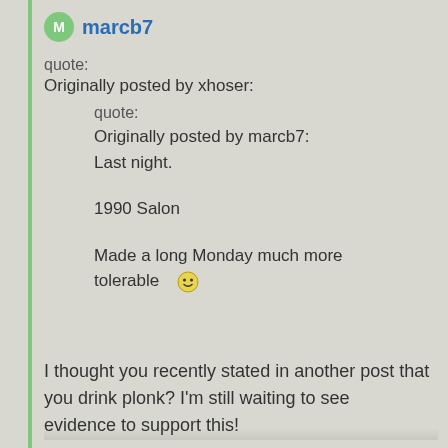marcb7
quote:
Originally posted by xhoser:

quote:
Originally posted by marcb7:
Last night.

1990 Salon

Made a long Monday much more tolerable 🙂
I thought you recently stated in another post that you drink plonk? I'm still waiting to see evidence to support this!